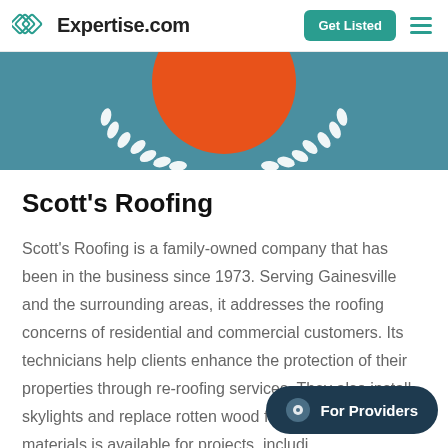Expertise.com | Get Listed
[Figure (illustration): Teal banner background with an orange circle (award badge) at top center and a white laurel wreath design below it, partially visible]
Scott's Roofing
Scott's Roofing is a family-owned company that has been in the business since 1973. Serving Gainesville and the surrounding areas, it addresses the roofing concerns of residential and commercial customers. Its technicians help clients enhance the protection of their properties through re-roofing services. They also install skylights and replace rotten wood framings. An array of materials is available for projects, including metal, shingle, and flat roofs. Its owner, Tom, is a second-generation roofer and the son of the former